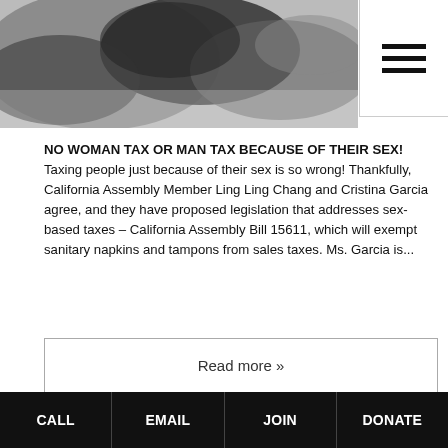[Figure (photo): Black and white close-up photo of what appears to be round objects, possibly buttons or coins, in grayscale tones]
NO WOMAN TAX OR MAN TAX BECAUSE OF THEIR SEX! Taxing people just because of their sex is so wrong! Thankfully, California Assembly Member Ling Ling Chang and Cristina Garcia agree, and they have proposed legislation that addresses sex-based taxes – California Assembly Bill 15611, which will exempt sanitary napkins and tampons from sales taxes. Ms. Garcia is...
Read more »
Tags: "elitist feminism", California Assembly Bill 15611, Cristina Garcia, female privilege, feminism, ling ling chang, man tax, national coalition for men, woman tax
Posted in Discrimination Against Boys, Discrimination Against Males, Discrimination Against Men, Discrimination Against Men in the Military, Discrimination Against
CALL   EMAIL   JOIN   DONATE